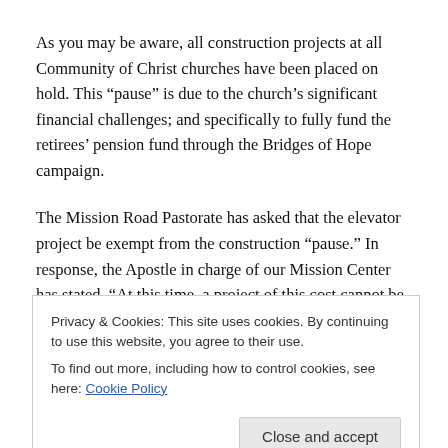As you may be aware, all construction projects at all Community of Christ churches have been placed on hold. This “pause” is due to the church’s significant financial challenges; and specifically to fully fund the retirees’ pension fund through the Bridges of Hope campaign.
The Mission Road Pastorate has asked that the elevator project be exempt from the construction “pause.” In response, the Apostle in charge of our Mission Center has stated, “At this time, a project of this cost cannot be considered in isolation, but as part of the whole church’s...
Privacy & Cookies: This site uses cookies. By continuing to use this website, you agree to their use. To find out more, including how to control cookies, see here: Cookie Policy
opportunities if the project is not completed at this time?”